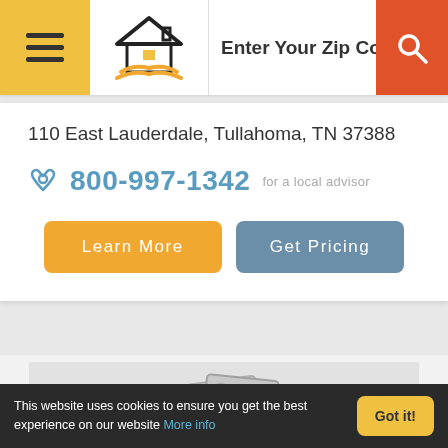Enter Your Zip Code, State,
110 East Lauderdale, Tullahoma, TN 37388
800-997-1342 for a local advisor
Learn More
Get Pricing
[Figure (illustration): Placeholder image icon showing stacked photo thumbnails with mountain/landscape imagery outline in gray]
This website uses cookies to ensure you get the best experience on our website More info